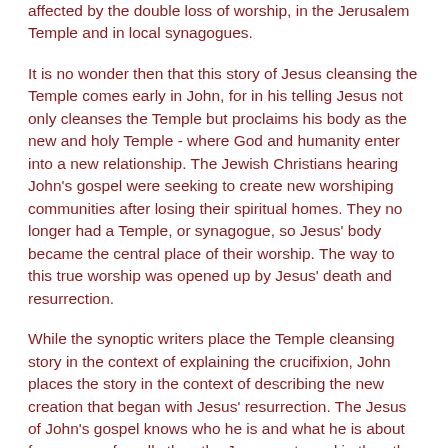affected by the double loss of worship, in the Jerusalem Temple and in local synagogues.
It is no wonder then that this story of Jesus cleansing the Temple comes early in John, for in his telling Jesus not only cleanses the Temple but proclaims his body as the new and holy Temple - where God and humanity enter into a new relationship. The Jewish Christians hearing John's gospel were seeking to create new worshiping communities after losing their spiritual homes. They no longer had a Temple, or synagogue, so Jesus' body became the central place of their worship. The way to this true worship was opened up by Jesus' death and resurrection.
While the synoptic writers place the Temple cleansing story in the context of explaining the crucifixion, John places the story in the context of describing the new creation that began with Jesus' resurrection. The Jesus of John's gospel knows who he is and what he is about far more profoundly than the Jesus portrayed in the other three gospels. For Jewish Christians who had lost so much because of their faith, this portrayal of Jesus who knows who he is and what he is about would have been deeply reassuring.
Just as these early Christians were starting over again, we all have to do that too, multiple times, in our lives as individuals and as Christian communities. Sometimes, like the people of Israel leaving Egypt, we have been released from restrictions or challenging circumstances and have to figure out what form our new life will take. Other times, like John's community, we might have been side-lined because of who we are and what we believe in, which doesn't fit with the rest of society or the church. We may have been compelled to leave a school, a team, a job, a neighbourhood, a church, a friendship, or a marriage. Getting